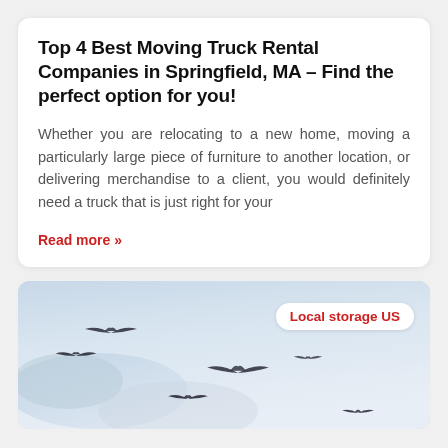Top 4 Best Moving Truck Rental Companies in Springfield, MA – Find the perfect option for you!
Whether you are relocating to a new home, moving a particularly large piece of furniture to another location, or delivering merchandise to a client, you would definitely need a truck that is just right for your
Read more »
[Figure (photo): Photo of birds flying in a light blue sky with clouds, with a white badge overlay reading 'Local storage US' in red text]